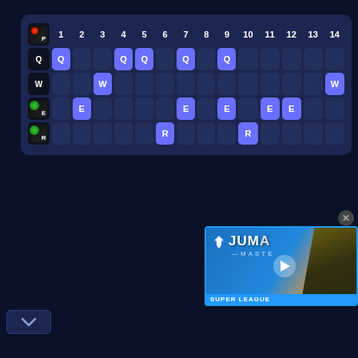[Figure (other): Skill upgrade grid for a game character (P/Q/W/E/R abilities across 14 levels). Q marked at levels 1,4,5,7,9; W at levels 3,14; E at levels 2,7,9,11,12; R at levels 6,10. Dark blue background with purple/blue highlight cells.]
[Figure (screenshot): Video advertisement thumbnail for 'Jump Master' Super League. Shows the game logo with wings icon, partial text 'JUMA -MASTE', play button overlay, a character in yellow-green armor on right, blue background, 'SUPER LEAGUE' bar at bottom.]